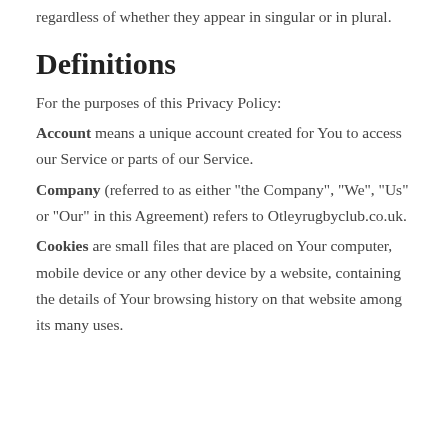regardless of whether they appear in singular or in plural.
Definitions
For the purposes of this Privacy Policy:
Account means a unique account created for You to access our Service or parts of our Service.
Company (referred to as either "the Company", "We", "Us" or "Our" in this Agreement) refers to Otleyrugbyclub.co.uk.
Cookies are small files that are placed on Your computer, mobile device or any other device by a website, containing the details of Your browsing history on that website among its many uses.